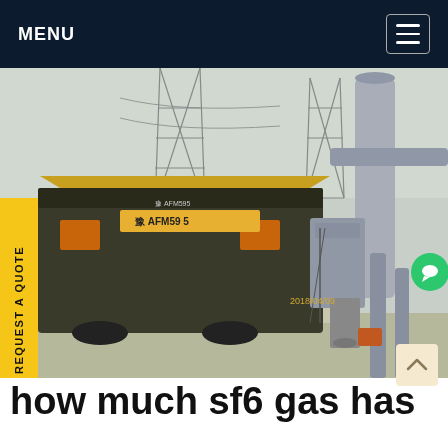MENU
[Figure (photo): A truck labeled 'AFM59 5' with Chinese characters at an industrial electrical substation site. High-voltage transmission towers visible in background along with large grey electrical equipment and piping. Date stamp reads 2018/04/09.]
how much sf6 gas has